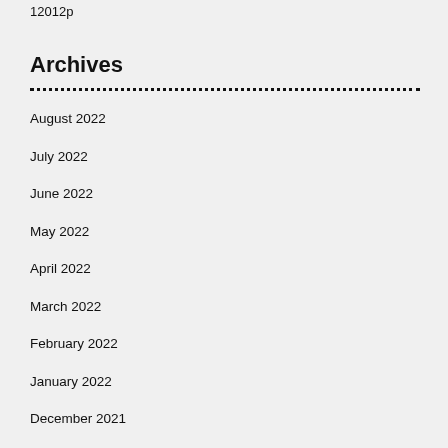12012p
Archives
August 2022
July 2022
June 2022
May 2022
April 2022
March 2022
February 2022
January 2022
December 2021
November 2021
October 2021